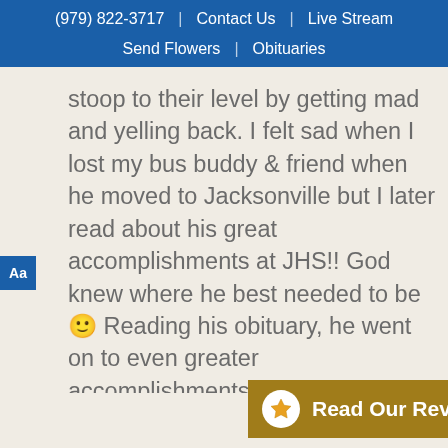(979) 822-3717 | Contact Us | Live Stream
Send Flowers | Obituaries
stoop to their level by getting mad and yelling back. I felt sad when I lost my bus buddy & friend when he moved to Jacksonville but I later read about his great accomplishments at JHS!! God knew where he best needed to be 🙂 Reading his obituary, he went on to even greater accomplishments and it was nice to read about YOU, his family and the things he enjoyed. He will hold a special place in my heart always and I know he will be with all of you still because he's right there in YOUR hearts.
Eternal rest grant unto Abe O Lord, and let pe[ople shine...] Abe[...] ful
[Figure (infographic): Gold banner with star icon and text 'Read Our Reviews']